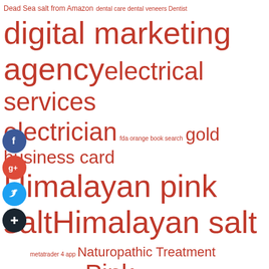[Figure (infographic): A tag cloud / word cloud with keywords in varying sizes in red/crimson color on white background. Social media icons (Facebook, Google+, Twitter, plus) float on the left side. Keywords include: Dead Sea salt from Amazon, dental care, dental veneers, Dentist, digital marketing agency, electrical services, electrician, fda orange book search, gold business card, Himalayan pink salt, Himalayan salt, metatrader 4 app, Naturopathic Treatment, Naturopathy, Pink Himalayan salt, Pink salt, porcelain veneers concord nc, pre insulated duct, pre insulated duct suppliers, pressure washing, professional business coach, pure Dead Sea salt, Responsive Web Design, screw air compressors, SEO services, social media, social media agency, Teeth Whitening, web design, web design company, web design services, Website Designer Near Me]